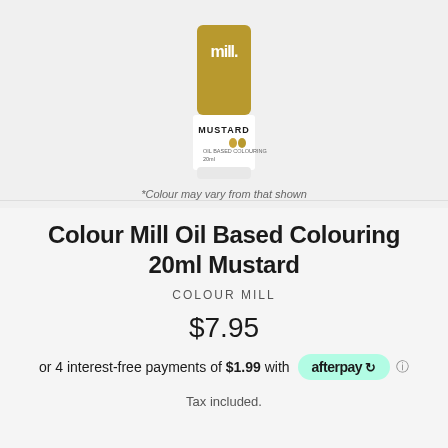[Figure (photo): Product bottle of Colour Mill Oil Based Colouring 20ml Mustard — a cylindrical bottle with mustard/golden-yellow cap and white label showing 'MUSTARD' text with droplet icons]
*Colour may vary from that shown
Colour Mill Oil Based Colouring 20ml Mustard
COLOUR MILL
$7.95
or 4 interest-free payments of $1.99 with afterpay
Tax included.